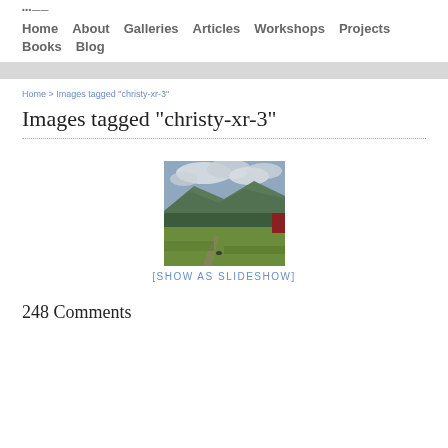Home  About  Galleries  Articles  Workshops  Projects  Books  Blog
Home > Images tagged "christy-xr-3"
Images tagged "christy-xr-3"
[Figure (photo): Landscape photo showing green fields, forested hills, mountains in the background, and a cloudy sky. A red structure is partially visible on the right edge.]
[SHOW AS SLIDESHOW]
248 Comments